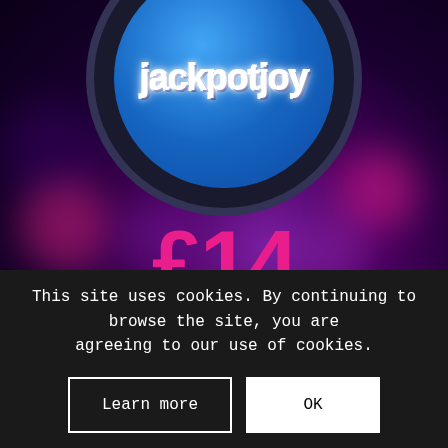[Figure (logo): Jackpotjoy logo — white bubbly text on a blue circular background with dark outer ring, set against a dark purple bokeh background]
£14
NEW CUSTOMER OFFER
➤ CLAIM OFFER
This site uses cookies. By continuing to browse the site, you are agreeing to our use of cookies.
Learn more
OK